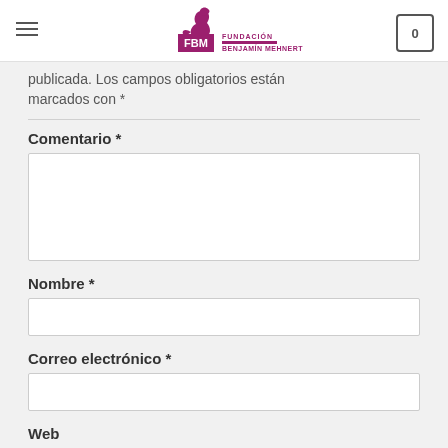FBM Fundación Benjamín Mehnert — Navigation header with hamburger menu and cart icon
publicada. Los campos obligatorios están marcados con *
Comentario *
Nombre *
Correo electrónico *
Web